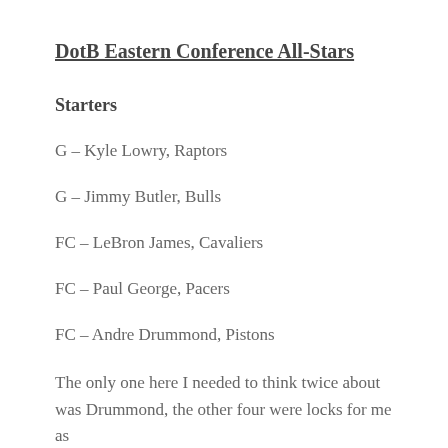DotB Eastern Conference All-Stars
Starters
G – Kyle Lowry, Raptors
G – Jimmy Butler, Bulls
FC – LeBron James, Cavaliers
FC – Paul George, Pacers
FC – Andre Drummond, Pistons
The only one here I needed to think twice about was Drummond, the other four were locks for me as